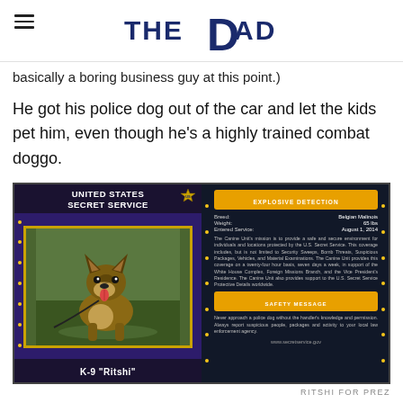THE DAD (logo with hamburger menu)
basically a boring business guy at this point.)
He got his police dog out of the car and let the kids pet him, even though he's a highly trained combat doggo.
[Figure (photo): Two-sided trading card for a United States Secret Service K-9 unit dog named 'Ritshi'. Left side shows dog photo (Belgian Malinois) with gold-dotted border on dark purple background. Right side shows card back with 'EXPLOSIVE DETECTION' banner, dog details (Breed: Belgian Malinois, Weight: 65 lbs, Entered Service: August 1, 2014), mission text, safety message, and www.secretservice.gov]
RITSHI FOR PREZ